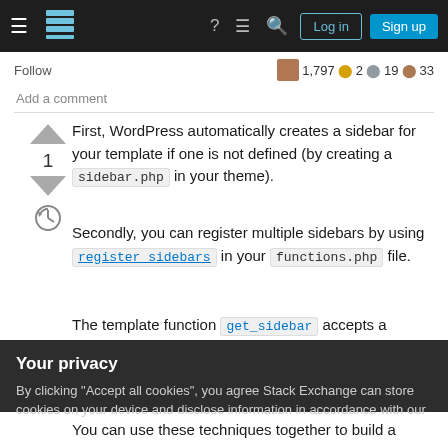Stack Exchange navigation bar with hamburger menu, logo, help, chat, search, Log in, Sign up buttons
Follow
1,797  2  19  33
Add a comment
First, WordPress automatically creates a sidebar for your template if one is not defined (by creating a sidebar.php in your theme).
Secondly, you can register multiple sidebars by using register_sidebars in your functions.php file.
The template function get_sidebar accepts a
Your privacy
By clicking "Accept all cookies", you agree Stack Exchange can store cookies on your device and disclose information in accordance with our Cookie Policy.
Accept all cookies
Customize settings
You can use these techniques together to build a